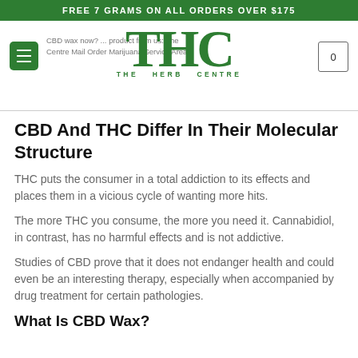FREE 7 GRAMS ON ALL ORDERS OVER $175
[Figure (logo): THC - The Herb Centre logo with large green THC letters and subtitle THE HERB CENTRE]
CBD wax now? ... product from us: The Centre Mail Order Marijuana Service Areas.
CBD And THC Differ In Their Molecular Structure
THC puts the consumer in a total addiction to its effects and places them in a vicious cycle of wanting more hits.
The more THC you consume, the more you need it. Cannabidiol, in contrast, has no harmful effects and is not addictive.
Studies of CBD prove that it does not endanger health and could even be an interesting therapy, especially when accompanied by drug treatment for certain pathologies.
What Is CBD Wax?